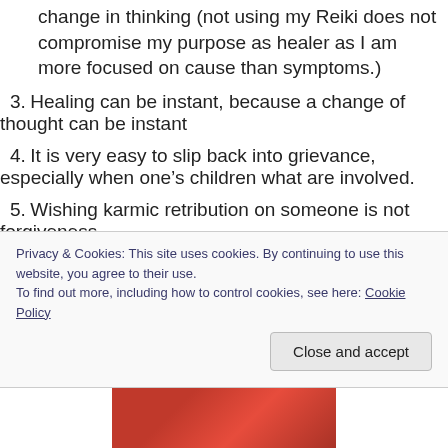change in thinking (not using my Reiki does not compromise my purpose as healer as I am more focused on cause than symptoms.)
3. Healing can be instant, because a change of thought can be instant
4. It is very easy to slip back into grievance, especially when one’s children what are involved.
5. Wishing karmic retribution on someone is not forgiveness.
6. What irritates me in someone else is a reflection of some unresolved issue in me.
Privacy & Cookies: This site uses cookies. By continuing to use this website, you agree to their use. To find out more, including how to control cookies, see here: Cookie Policy